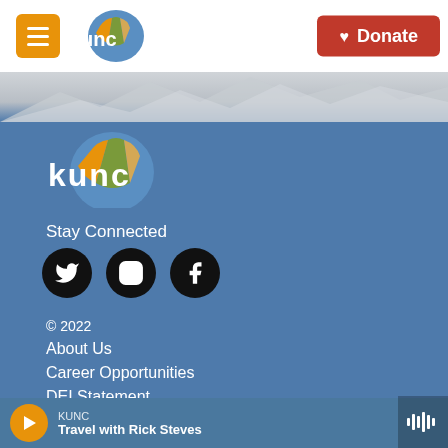KUNC header with hamburger menu, KUNC logo, and Donate button
[Figure (logo): KUNC radio station logo with colorful circular emblem and white text on blue background]
Stay Connected
[Figure (infographic): Social media icons: Twitter, Instagram, Facebook (black circles with white icons)]
© 2022
About Us
Career Opportunities
DEI Statement
Listening Options
KUNC — Travel with Rick Steves (audio player bar)